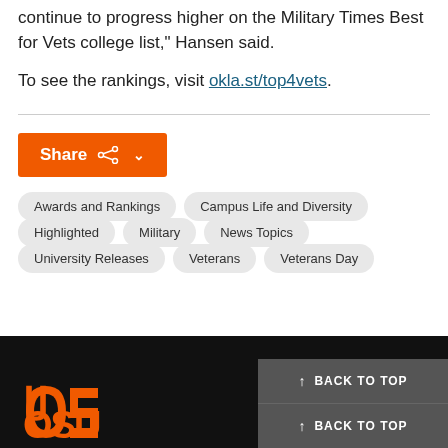continue to progress higher on the Military Times Best for Vets college list," Hansen said.
To see the rankings, visit okla.st/top4vets.
[Figure (other): Orange Share button with share icon and chevron dropdown arrow]
Awards and Rankings
Campus Life and Diversity
Highlighted
Military
News Topics
University Releases
Veterans
Veterans Day
BACK TO TOP | BACK TO TOP
[Figure (logo): OSU logo in orange on black background]